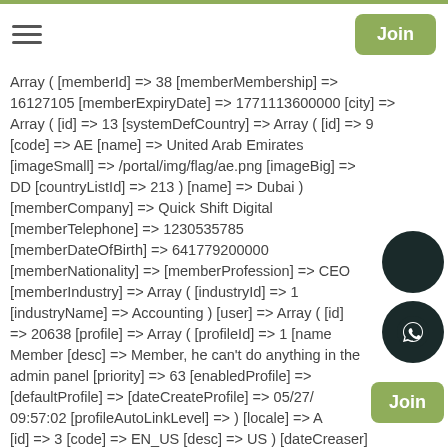Navigation bar with hamburger menu and Join button
Array ( [memberId] => 38 [memberMembership] => 16127105 [memberExpiryDate] => 1771113600000 [city] => Array ( [id] => 13 [systemDefCountry] => Array ( [id] => 9 [code] => AE [name] => United Arab Emirates [imageSmall] => /portal/img/flag/ae.png [imageBig] => DD [countryListId] => 213 ) [name] => Dubai ) [memberCompany] => Quick Shift Digital [memberTelephone] => 1230535785 [memberDateOfBirth] => 641779200000 [memberNationality] => [memberProfession] => CEO [memberIndustry] => Array ( [industryId] => 1 [industryName] => Accounting ) [user] => Array ( [id] => 20638 [profile] => Array ( [profileId] => 1 [name] => Member [desc] => Member, he can't do anything in the admin panel [priority] => 63 [enabledProfile] => [defaultProfile] => [dateCreateProfile] => 05/27/7 09:57:02 [profileAutoLinkLevel] => ) [locale] => Array ( [id] => 3 [code] => EN_US [desc] => US ) [dateCreateUser] => 1644845079000 [dateModifyPwd] => 1644845172000 [debugMode] => 1 [userAttempsConnection] => [userEmail] => juzer@quickshiftdigital.com [userEnabled] => 1 [userFirstname] => Juzer [remember_me] => [userLastname] => Rangwala